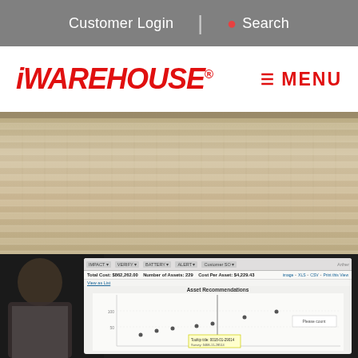Customer Login | Search
iWAREHOUSE®
≡ MENU
[Figure (photo): Photograph of a warehouse/conference setting showing vertical blinds or a slat-wall display in the background, with a person and a computer monitor showing the iWAREHOUSE Asset Recommendations dashboard in the foreground.]